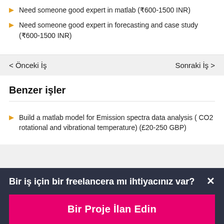Need someone good expert in matlab (₹600-1500 INR)
Need someone good expert in forecasting and case study (₹600-1500 INR)
< Önceki İş
Sonraki İş >
Benzer işler
Build a matlab model for Emission spectra data analysis ( CO2 rotational and vibrational temperature) (£20-250 GBP)
Bir iş için bir freelancera mı ihtiyacınız var?
Bir Proje İlan Edin